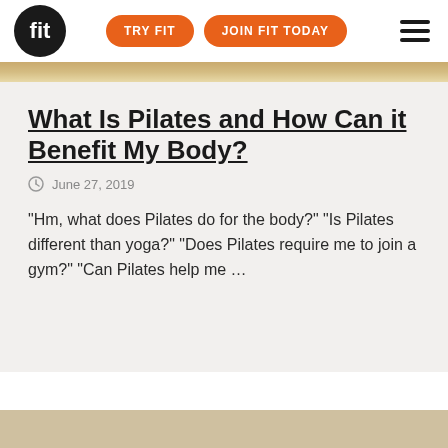fit | TRY FIT | JOIN FIT TODAY
What Is Pilates and How Can it Benefit My Body?
June 27, 2019
"Hm, what does Pilates do for the body?" "Is Pilates different than yoga?" "Does Pilates require me to join a gym?" "Can Pilates help me …